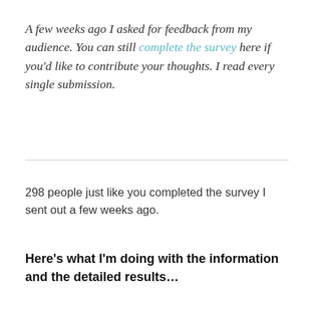A few weeks ago I asked for feedback from my audience. You can still complete the survey here if you'd like to contribute your thoughts. I read every single submission.
298 people just like you completed the survey I sent out a few weeks ago.
Here's what I'm doing with the information and the detailed results…